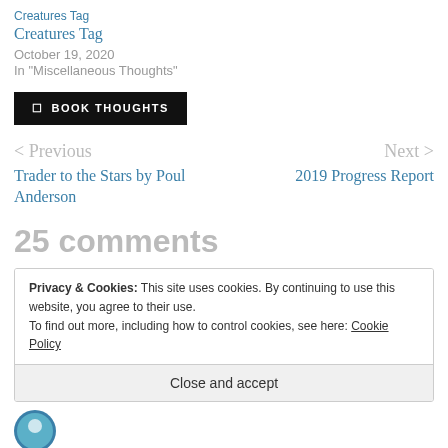Creatures Tag
October 19, 2020
In "Miscellaneous Thoughts"
BOOK THOUGHTS
< Previous
Trader to the Stars by Poul Anderson
Next >
2019 Progress Report
25 comments
Privacy & Cookies: This site uses cookies. By continuing to use this website, you agree to their use.
To find out more, including how to control cookies, see here: Cookie Policy
Close and accept